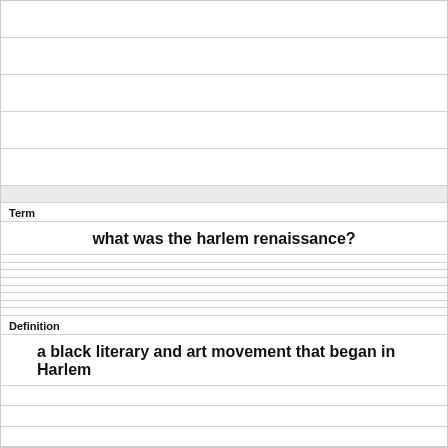Term
what was the harlem renaissance?
Definition
a black literary and art movement that began in Harlem